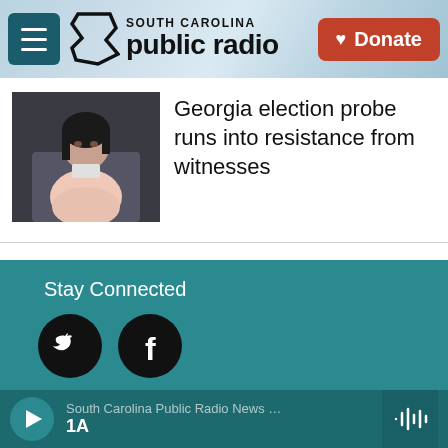South Carolina Public Radio — Donate
[Figure (screenshot): Thumbnail photo of a woman seated, used as article illustration]
Georgia election probe runs into resistance from witnesses
Stay Connected
[Figure (logo): Twitter bird icon in black circle]
[Figure (logo): Facebook f icon in black circle]
© 2022 South Carolina Public Radio
Direct Streaming Links
South Carolina Public Radio News … 1A